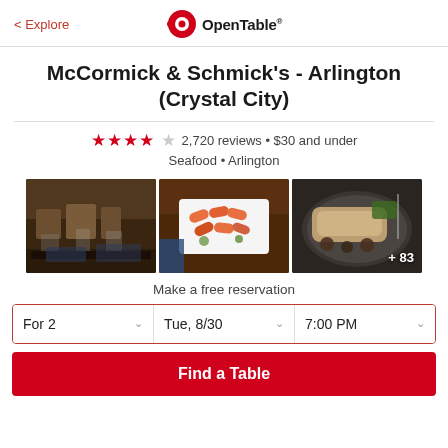< Explore | OpenTable
McCormick & Schmick's - Arlington (Crystal City)
4 stars, 2,720 reviews • $30 and under
Seafood • Arlington
[Figure (photo): Three restaurant photos: dining room interior, shrimp appetizer dish, fish entree with mushrooms. Third photo has overlay text '+ 83'.]
Make a free reservation
For 2 | Tue, 8/30 | 7:00 PM
Find a Table